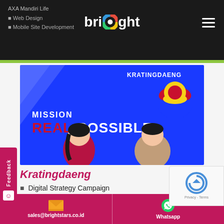AXA Mandiri Life
• Web Design
• Mobile Site Development
[Figure (illustration): Kratingdaeng Mission Real Possible campaign image with two animated characters on a blue background with Red Bull logo]
Kratingdaeng
Digital Strategy Campaign
Digital Activation Plan
sales@brightstars.co.id  |  Whatsapp